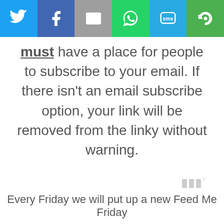[Figure (infographic): Social sharing bar with six icons: Twitter (blue), Facebook (dark blue), Email/envelope (grey), WhatsApp (green), SMS (light blue), and a circular arrows icon (green)]
must have a place for people to subscribe to your email. If there isn't an email subscribe option, your link will be removed from the linky without warning.
[Figure (logo): Tweriod or similar watermark logo in grey showing 'III°' style symbol]
Every Friday we will put up a new Feed Me Friday